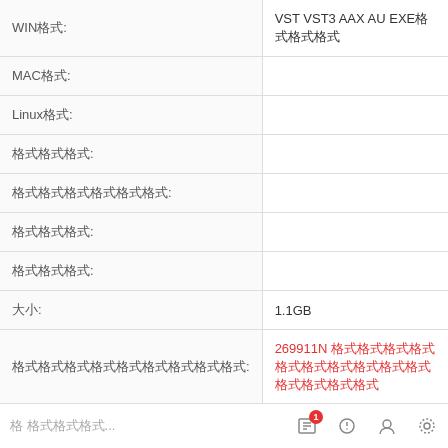| 字段 | 值 |
| --- | --- |
| WIN格式: | VST VST3 AAX AU EXE格式格式格式 |
| MAC格式: |  |
| Linux格式: |  |
| 采样率格式: |  |
| 音频格式格式格式: |  |
| 比特率格式: |  |
| 声道格式: |  |
| 大小: | 1.1GB |
| 格式格式格式格式格式格式: | 269911N 格式格式格式格式格式格式格式格式格式格式格式格式格式格式 |
| 格式格式格式格式: | 格式格式    格式格式格式格式 |
| 格式格式: | 格式格式格式格式 |
| 格式格式格式格式格式 | (QR code) |